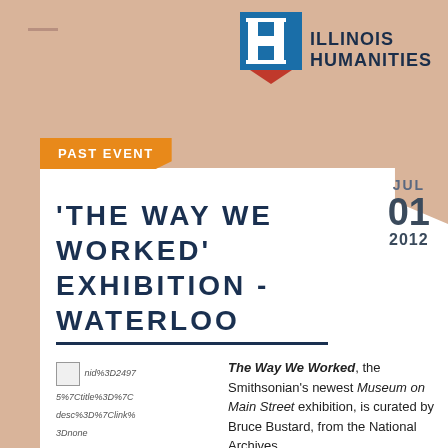[Figure (logo): Illinois Humanities logo with stylized H icon in blue and red, with text ILLINOIS HUMANITIES]
PAST EVENT
'THE WAY WE WORKED' EXHIBITION - WATERLOO
JUL 01 2012
The Way We Worked, the Smithsonian's newest Museum on Main Street exhibition, is curated by Bruce Bustard, from the National Archives.
nid%3D24975%7Ctitle%3D%7Cdesc%3D%7Clink%3Dnone